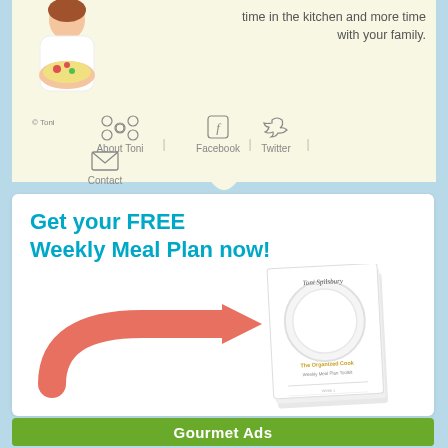time in the kitchen and more time with your family.
[Figure (illustration): Woman in white holding a pizza/food dish, navigation icons for About Toni, Facebook, Twitter, Contact]
Get your FREE Weekly Meal Plan now!
[Figure (illustration): Large pink/coral curved arrow pointing right toward a booklet titled The Organized Cook Weekly Meal Plan Toolkit on a white plate]
Gourmet Ads